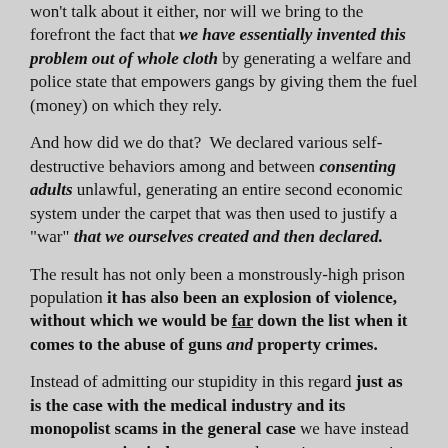won't talk about it either, nor will we bring to the forefront the fact that we have essentially invented this problem out of whole cloth by generating a welfare and police state that empowers gangs by giving them the fuel (money) on which they rely.
And how did we do that? We declared various self-destructive behaviors among and between consenting adults unlawful, generating an entire second economic system under the carpet that was then used to justify a "war" that we ourselves created and then declared.
The result has not only been a monstrously-high prison population it has also been an explosion of violence, without which we would be far down the list when it comes to the abuse of guns and property crimes.
Instead of admitting our stupidity in this regard just as is the case with the medical industry and its monopolist scams in the general case we have instead grown an entire industry around arresting, prosecuting and imprisoning huge numbers of people, most of